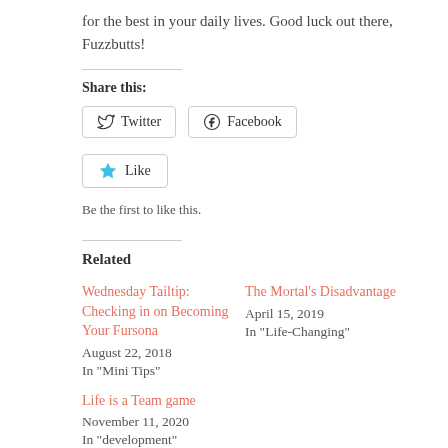for the best in your daily lives. Good luck out there, Fuzzbutts!
Share this:
Twitter
Facebook
Like
Be the first to like this.
Related
Wednesday Tailtip: Checking in on Becoming Your Fursona
August 22, 2018
In "Mini Tips"
The Mortal's Disadvantage
April 15, 2019
In "Life-Changing"
Life is a Team game
November 11, 2020
In "development"